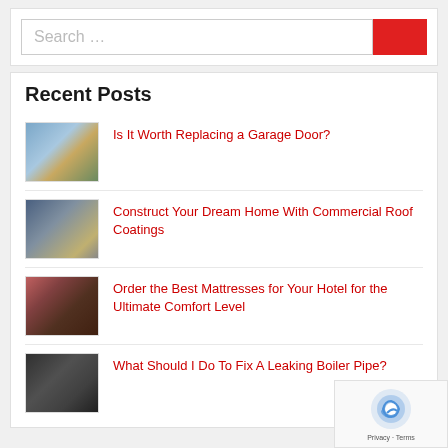[Figure (screenshot): Search bar with text 'Search ...' placeholder and red search button]
Recent Posts
Is It Worth Replacing a Garage Door?
Construct Your Dream Home With Commercial Roof Coatings
Order the Best Mattresses for Your Hotel for the Ultimate Comfort Level
What Should I Do To Fix A Leaking Boiler Pipe?